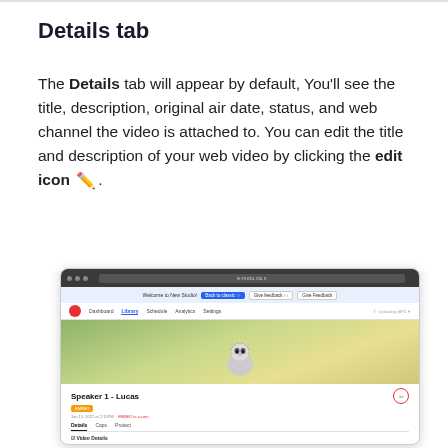Details tab
The Details tab will appear by default, You'll see the title, description, original air date, status, and web channel the video is attached to. You can edit the title and description of your web video by clicking the edit icon ✏️ .
[Figure (screenshot): Screenshot of a video platform interface showing a video titled 'Speaker 1 - Lucas' with a character thumbnail, details tab with title, description, creation date, status fields, and an edit icon button highlighted with a red circle border.]